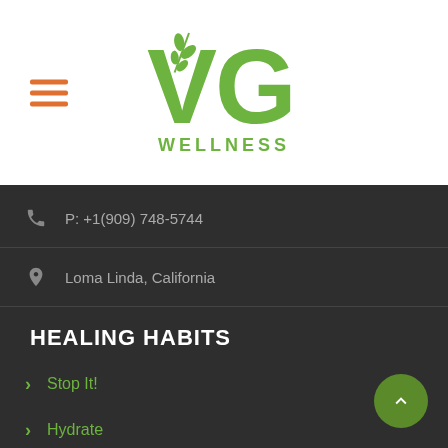[Figure (logo): VG Wellness logo with green stylized VG letters and wheat/leaf motif, text WELLNESS below]
P: +1(909) 748-5744
Loma Linda, California
HEALING HABITS
Stop It!
Hydrate
Sweat a Little